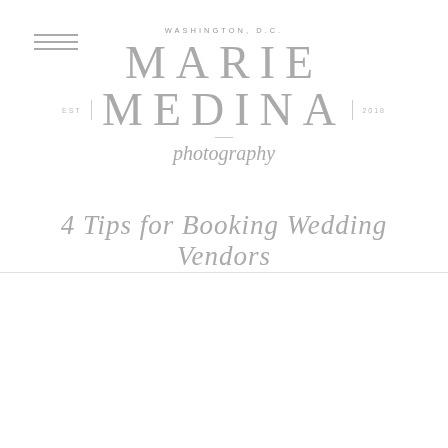[Figure (logo): Hamburger menu icon with three horizontal lines]
WASHINGTON, D.C.
MARIE MEDINA
EST. | 2018
photography
4 Tips for Booking Wedding Vendors